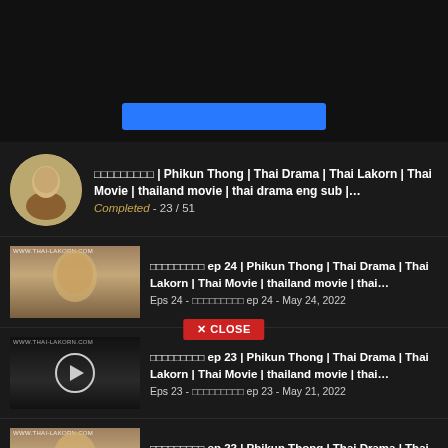[Figure (screenshot): Top navigation bar with blue button]
ภิกษุณีทอง | Phikun Thong | Thai Drama | Thai Lakorn | Thai Movie | thailand movie | thai drama eng sub |… ภิกษุณีทอง- ภิกษุณีทอง Completed - 23 / 51
ภิกษุณีทอง ep 24 | Phikun Thong | Thai Drama | Thai Lakorn | Thai Movie | thailand movie | thai… Eps 24 - ภิกษุณีทอง ep 24 - May 24, 2022
ภิกษุณีทอง ep 23 | Phikun Thong | Thai Drama | Thai Lakorn | Thai Movie | thailand movie | thai… Eps 23 - ภิกษุณีทอง ep 23 - May 21, 2022
ภิกษุณีทอง ep 22 | Phikun Thong | Thai Drama | Thai Lakorn | Thai Movie | thailand movie | thai… Eps 22 - ภิกษุณีทอง ep 22 - May 21, 2022
ภิกษุณีทอง ep 21 | Phikun Thong | Thai Drama | Thai Lakorn | Thai Movie | thailand movie | thai…